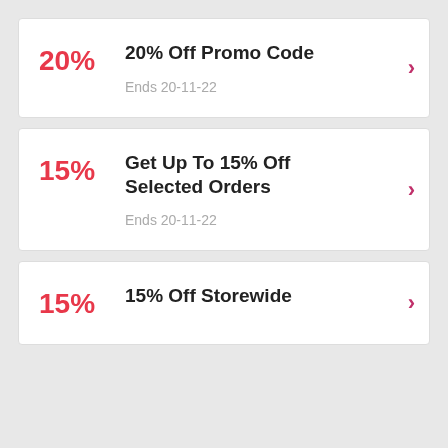20% — 20% Off Promo Code — Ends 20-11-22
15% — Get Up To 15% Off Selected Orders — Ends 20-11-22
15% — 15% Off Storewide